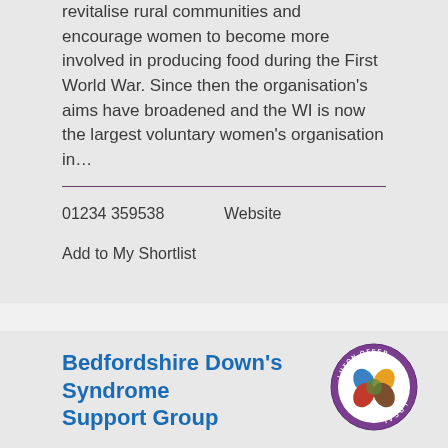revitalise rural communities and encourage women to become more involved in producing food during the First World War. Since then the organisation's aims have broadened and the WI is now the largest voluntary women's organisation in…
01234 359538
Website
Add to My Shortlist
Bedfordshire Down's Syndrome Support Group
[Figure (logo): Circular logo with hands joined in the center, text around the border reading Luton Offer Local]
This site uses cookies to make the site simpler. By continuing to browse the site, you are agreeing to our use of cookies. Find out more about cookies